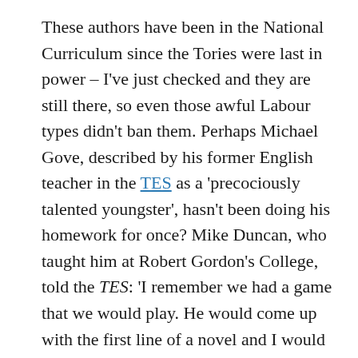These authors have been in the National Curriculum since the Tories were last in power – I've just checked and they are still there, so even those awful Labour types didn't ban them. Perhaps Michael Gove, described by his former English teacher in the TES as a 'precociously talented youngster', hasn't been doing his homework for once? Mike Duncan, who taught him at Robert Gordon's College, told the TES: 'I remember we had a game that we would play. He would come up with the first line of a novel and I would have to guess the title of the novel. I would do the same and he would always guess the title correctly.' This suggests a new game: the opening sentences of books our leader ought to read next. Here's a sentence from